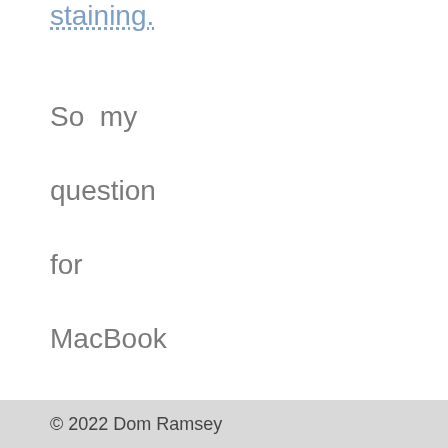staining.
So my question for MacBook and MacBook Pro owners – particularly those who
© 2022 Dom Ramsey